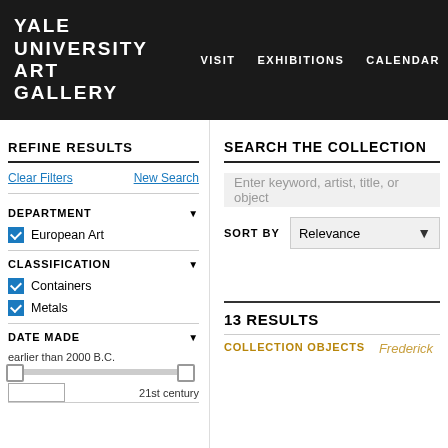YALE UNIVERSITY ART GALLERY — VISIT  EXHIBITIONS  CALENDAR
REFINE RESULTS
Clear Filters   New Search
DEPARTMENT
European Art
CLASSIFICATION
Containers
Metals
DATE MADE
earlier than 2000 B.C.
21st century
SEARCH THE COLLECTION
Enter keyword, artist, title, or object
SORT BY  Relevance
13 RESULTS
COLLECTION OBJECTS
Frederick